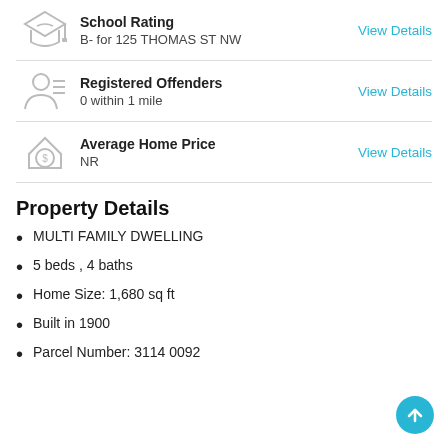School Rating
B- for 125 THOMAS ST NW
Registered Offenders
0 within 1 mile
Average Home Price
NR
Property Details
MULTI FAMILY DWELLING
5 beds , 4 baths
Home Size: 1,680 sq ft
Built in 1900
Parcel Number: 3114 0092